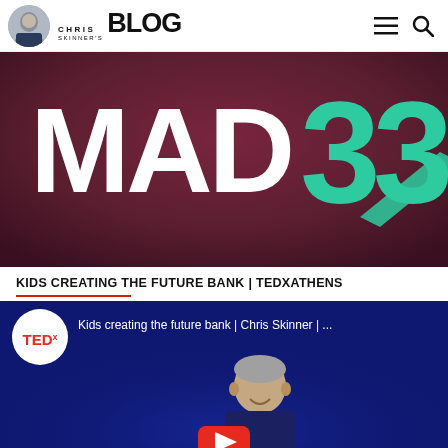CHRIS SKINNER'S BLOG
[Figure (logo): MAD33 event banner with large white MAD text and teal/green 33 numbers on dark purple-red gradient background]
KIDS CREATING THE FUTURE BANK | TEDXATHENS
[Figure (screenshot): YouTube video thumbnail showing TEDx logo badge, title 'Kids creating the future bank | Chris Skinner | ...' and a speaker on a dark blue stage background with a red play button]